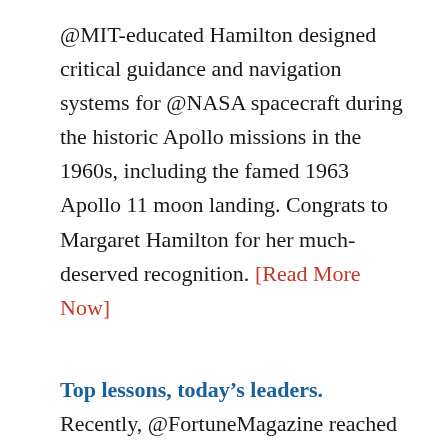@MIT-educated Hamilton designed critical guidance and navigation systems for @NASA spacecraft during the historic Apollo missions in the 1960s, including the famed 1963 Apollo 11 moon landing. Congrats to Margaret Hamilton for her much-deserved recognition. [Read More Now]
Top lessons, today's leaders. Recently, @FortuneMagazine reached out to its “Fortune 40 under 40” and asked: “What’s the best leadership advice you have ever received?” Some answers are fresh and